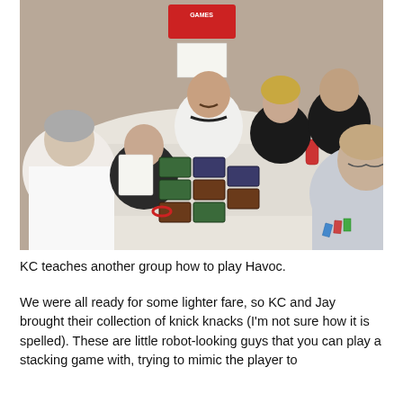[Figure (photo): Group of people seated around a table playing a card game called Havoc at what appears to be a game convention. Cards and game components are spread on the table. A sign reading 'Games' is visible in the background.]
KC teaches another group how to play Havoc.
We were all ready for some lighter fare, so KC and Jay brought their collection of knick knacks (I'm not sure how it is spelled). These are little robot-looking guys that you can play a stacking game with, trying to mimic the player to